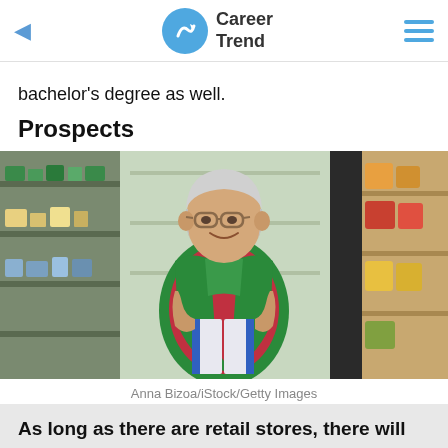Career Trend
bachelor's degree as well.
Prospects
[Figure (photo): An elderly woman in a green apron smiling in a grocery store, holding boxes, with store shelves visible in the background.]
Anna Bizoa/iStock/Getty Images
As long as there are retail stores, there will be a need for someone to make sure the establishment